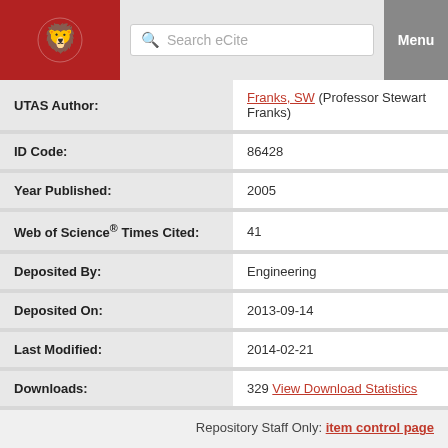Search eCite | Menu
| Field | Value |
| --- | --- |
| UTAS Author: | Franks, SW (Professor Stewart Franks) |
| ID Code: | 86428 |
| Year Published: | 2005 |
| Web of Science® Times Cited: | 41 |
| Deposited By: | Engineering |
| Deposited On: | 2013-09-14 |
| Last Modified: | 2014-02-21 |
| Downloads: | 329 View Download Statistics |
Repository Staff Only: item control page